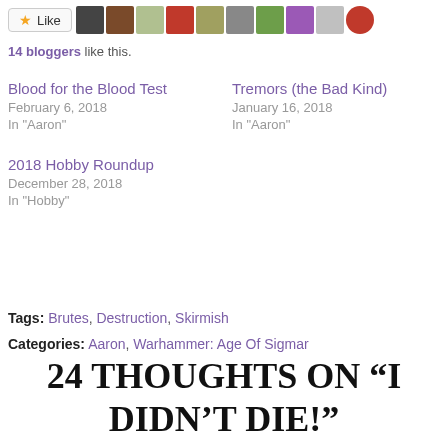[Figure (other): Like button with star icon followed by a row of blogger avatar thumbnails]
14 bloggers like this.
Blood for the Blood Test
February 6, 2018
In "Aaron"
Tremors (the Bad Kind)
January 16, 2018
In "Aaron"
2018 Hobby Roundup
December 28, 2018
In "Hobby"
Tags: Brutes, Destruction, Skirmish
Categories: Aaron, Warhammer: Age Of Sigmar
24 THOUGHTS ON “I DIDN’T DIE!”